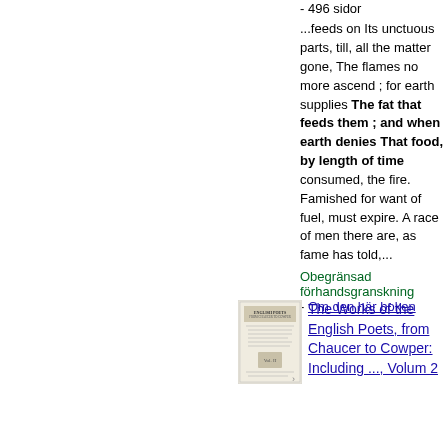- 496 sidor
...feeds on Its unctuous parts, till, all the matter gone, The flames no more ascend ; for earth supplies The fat that feeds them ; and when earth denies That food, by length of time consumed, the fire. Famished for want of fuel, must expire. A race of men there are, as fame has told,...
Obegränsad förhandsgranskning
- Om den här boken
[Figure (illustration): Small thumbnail image of a book cover for The Works of the English Poets]
The Works of the English Poets, from Chaucer to Cowper: Including ..., Volum 2